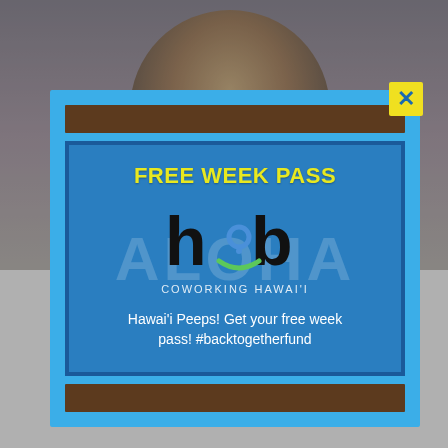[Figure (screenshot): Background webpage screenshot showing a man in glasses at the top, and partial text 'Kee... wh...' and 'Mia... just accepted into the Interlochen Arts Academy starting Fall 2019. This' below]
[Figure (screenshot): Modal popup with blue background containing: yellow close X button, dark brown top bar, Hub Coworking Hawaii logo with text 'FREE WEEK PASS' in yellow and promo text 'Hawai'i Peeps! Get your free week pass! #backtogetherfund']
Kee wh
Mia just accepted into the Interlochen Arts Academy starting Fall 2019. This